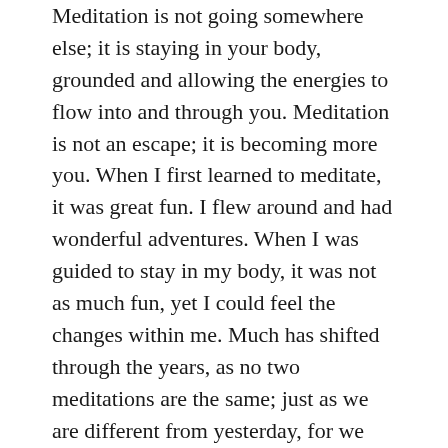Meditation is not going somewhere else; it is staying in your body, grounded and allowing the energies to flow into and through you. Meditation is not an escape; it is becoming more you. When I first learned to meditate, it was great fun. I flew around and had wonderful adventures. When I was guided to stay in my body, it was not as much fun, yet I could feel the changes within me. Much has shifted through the years, as no two meditations are the same; just as we are different from yesterday, for we shift moment to moment.
Meditation is not separate from your everyday life. As you meditate, you change things in your life. You live purposefully. Your choices reflect your spiritual growth. All you do is conscious and based on how you resonate with a person, action and everything. You do not do something just because someone tells